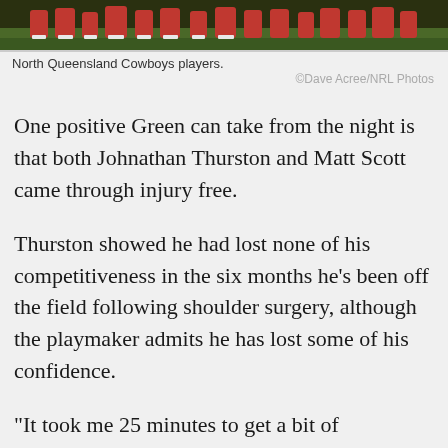[Figure (photo): North Queensland Cowboys players on a football field, players in red and black uniforms stretching or warming up on green grass.]
North Queensland Cowboys players.
©Dave Acree/NRL Photos
One positive Green can take from the night is that both Johnathan Thurston and Matt Scott came through injury free.
Thurston showed he had lost none of his competitiveness in the six months he's been off the field following shoulder surgery, although the playmaker admits he has lost some of his confidence.
"It took me 25 minutes to get a bit of